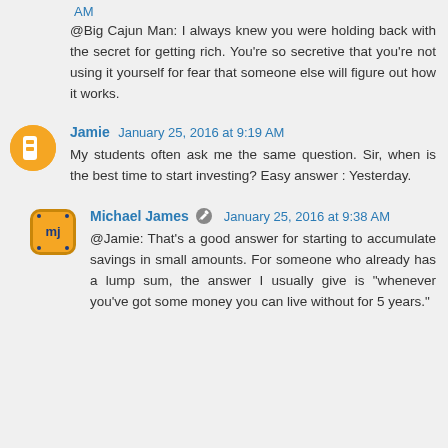@Big Cajun Man: I always knew you were holding back with the secret for getting rich. You're so secretive that you're not using it yourself for fear that someone else will figure out how it works.
Jamie  January 25, 2016 at 9:19 AM
My students often ask me the same question. Sir, when is the best time to start investing? Easy answer : Yesterday.
Michael James  January 25, 2016 at 9:38 AM
@Jamie: That's a good answer for starting to accumulate savings in small amounts. For someone who already has a lump sum, the answer I usually give is "whenever you've got some money you can live without for 5 years."